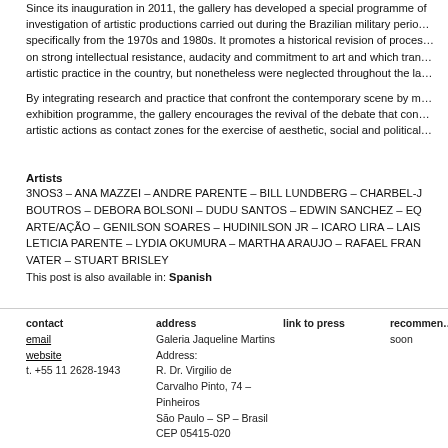Since its inauguration in 2011, the gallery has developed a special programme of investigation of artistic productions carried out during the Brazilian military period, specifically from the 1970s and 1980s. It promotes a historical revision of processes based on strong intellectual resistance, audacity and commitment to art and which transformed artistic practice in the country, but nonetheless were neglected throughout the la…
By integrating research and practice that confront the contemporary scene by means of its exhibition programme, the gallery encourages the revival of the debate that considers artistic actions as contact zones for the exercise of aesthetic, social and political…
Artists
3NOS3 – ANA MAZZEI – ANDRE PARENTE – BILL LUNDBERG – CHARBEL-J BOUTROS – DEBORA BOLSONI – DUDU SANTOS – EDWIN SANCHEZ – EQ ARTE/AÇÃO – GENILSON SOARES – HUDINILSON JR – ICARO LIRA – LAIS LETICIA PARENTE – LYDIA OKUMURA – MARTHA ARAUJO – RAFAEL FRAN VATER – STUART BRISLEY
This post is also available in: Spanish
contact
email
website
t. +55 11 2628-1943
address
Galeria Jaqueline Martins
Address:
R. Dr. Virgilio de Carvalho Pinto, 74 – Pinheiros
São Paulo – SP – Brasil
CEP 05415-020
link to press
recommen…
soon